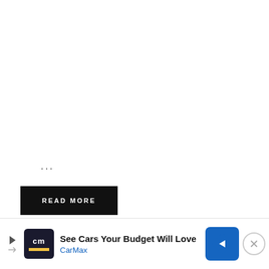...
READ MORE
[Figure (other): CarMax advertisement banner: 'See Cars Your Budget Will Love' with CarMax logo and navigation arrow icon]